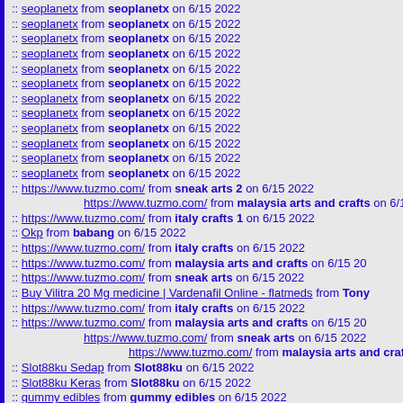:: seoplanetx from seoplanetx on 6/15 2022
:: seoplanetx from seoplanetx on 6/15 2022
:: seoplanetx from seoplanetx on 6/15 2022
:: seoplanetx from seoplanetx on 6/15 2022
:: seoplanetx from seoplanetx on 6/15 2022
:: seoplanetx from seoplanetx on 6/15 2022
:: seoplanetx from seoplanetx on 6/15 2022
:: seoplanetx from seoplanetx on 6/15 2022
:: seoplanetx from seoplanetx on 6/15 2022
:: seoplanetx from seoplanetx on 6/15 2022
:: seoplanetx from seoplanetx on 6/15 2022
:: seoplanetx from seoplanetx on 6/15 2022
:: https://www.tuzmo.com/ from sneak arts 2 on 6/15 2022
https://www.tuzmo.com/ from malaysia arts and crafts on 6/15
:: https://www.tuzmo.com/ from italy crafts 1 on 6/15 2022
:: Okp from babang on 6/15 2022
:: https://www.tuzmo.com/ from italy crafts on 6/15 2022
:: https://www.tuzmo.com/ from malaysia arts and crafts on 6/15 202
:: https://www.tuzmo.com/ from sneak arts on 6/15 2022
:: Buy Vilitra 20 Mg medicine | Vardenafil Online - flatmeds from Tony
:: https://www.tuzmo.com/ from italy crafts on 6/15 2022
:: https://www.tuzmo.com/ from malaysia arts and crafts on 6/15 202
https://www.tuzmo.com/ from sneak arts on 6/15 2022
https://www.tuzmo.com/ from malaysia arts and crafts o
:: Slot88ku Sedap from Slot88ku on 6/15 2022
:: Slot88ku Keras from Slot88ku on 6/15 2022
:: gummy edibles from gummy edibles on 6/15 2022
:: https://cannabismo.org/science-behind-wake-bake/ from wake and
:: Visit my blog ^^ from popol on 6/14 2022
:: drama from Harphoul Mohini on 6/14 2022